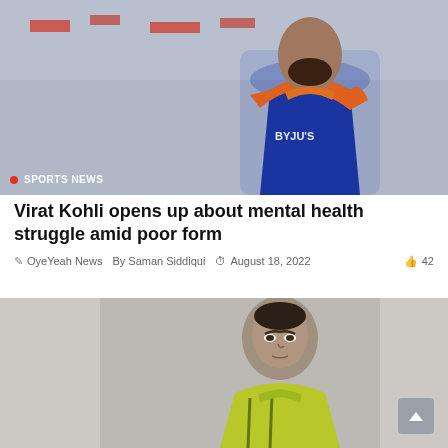[Figure (photo): Virat Kohli in blue India cricket jersey with orange collar and BYJU'S sponsor logo, looking over his shoulder. Sports news badge visible at bottom left.]
Virat Kohli opens up about mental health struggle amid poor form
OyeYeah News  By Saman Siddiqui  August 18, 2022  42
[Figure (photo): Cristiano Ronaldo in a yellow-green goalkeeper or training kit, looking forward, with blurred crowd background.]